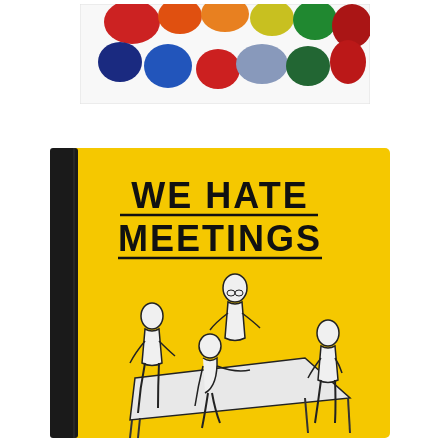[Figure (illustration): A rectangular card/print with white background showing colorful overlapping oval/circular spots in red, orange, yellow, green, blue, navy, gray, and dark red arranged across the top portion.]
[Figure (illustration): A yellow hardcover notebook with a black spine. The cover reads 'WE HATE MEETINGS' in bold hand-drawn black lettering with underlines beneath each word. Below the text is a black-and-white line drawing of four naked figures seated and standing around a white table, as if in a meeting.]